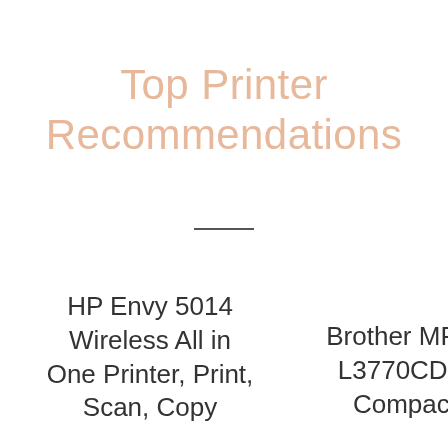Top Printer Recommendations
HP Envy 5014 Wireless All in One Printer, Print, Scan, Copy
Brother MFC-L3770CDW Compact